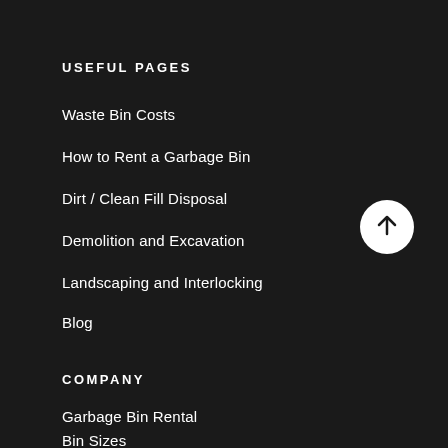USEFUL PAGES
Waste Bin Costs
How to Rent a Garbage Bin
Dirt / Clean Fill Disposal
Demolition and Excavation
Landscaping and Interlocking
Blog
COMPANY
Garbage Bin Rental
Bin Sizes